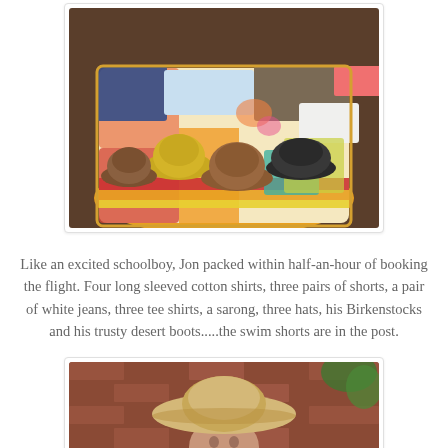[Figure (photo): Overhead view of an open suitcase packed with clothes (shirts, shorts, white jeans) and three hats (yellow straw hat, brown suede hat, dark grey/black cap) laid out on a colorful patterned quilt/luggage.]
Like an excited schoolboy, Jon packed within half-an-hour of booking the flight. Four long sleeved cotton shirts, three pairs of shorts, a pair of white jeans, three tee shirts, a sarong, three hats, his Birkenstocks and his trusty desert boots.....the swim shorts are in the post.
[Figure (photo): A woman wearing a wide-brimmed natural straw floppy hat, standing in front of a red brick wall with some green foliage visible. Only the top portion of the image is visible.]